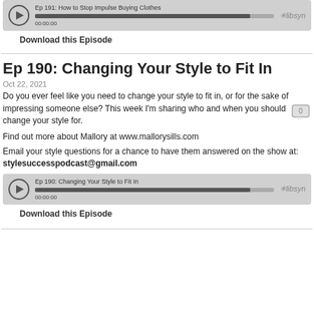[Figure (other): Audio player widget for previous episode (Ep 191: How to Stop Impulse Buying Clothes) showing play button, progress bar at 00:00:00, and libsyn logo]
Download this Episode
Ep 190: Changing Your Style to Fit In
Oct 22, 2021
Do you ever feel like you need to change your style to fit in, or for the sake of impressing someone else? This week I'm sharing who and when you should change your style for.
Find out more about Mallory at www.mallorysills.com
Email your style questions for a chance to have them answered on the show at: stylesuccesspodcast@gmail.com
[Figure (other): Audio player widget for Ep 190: Changing Your Style to Fit In showing play button, progress bar at 00:00:00, and libsyn logo]
Download this Episode
horizontal divider line at bottom